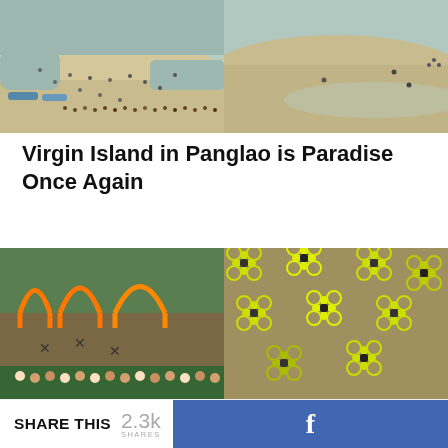[Figure (photo): Aerial view of a crowded sandy beach with people swimming and boats, split into two panels — left shows more people and activity, right shows a quieter stretch of shoreline]
Virgin Island in Panglao is Paradise Once Again
[Figure (photo): Two panels: left shows orange arch-shaped drone racing gates on a muddy field with an audience under a green canopy; right shows multiple yellow and black FPV racing drones arranged on a surface]
SHARE THIS  2.3k  SHARES